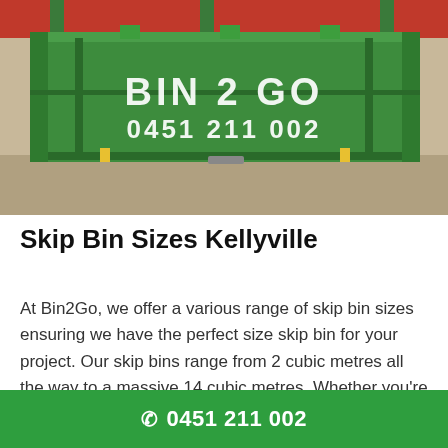[Figure (photo): A large green skip bin with 'BIN 2 GO' and phone number '0451 211 002' stenciled in white on the front, photographed outdoors on a concrete/dirt surface with a red/orange structure behind it.]
Skip Bin Sizes Kellyville
At Bin2Go, we offer a various range of skip bin sizes ensuring we have the perfect size skip bin for your project. Our skip bins range from 2 cubic metres all the way to a massive 14 cubic metres. Whether you're a residential, commercial or construction customer, we have the right skip bin size for your
0451 211 002